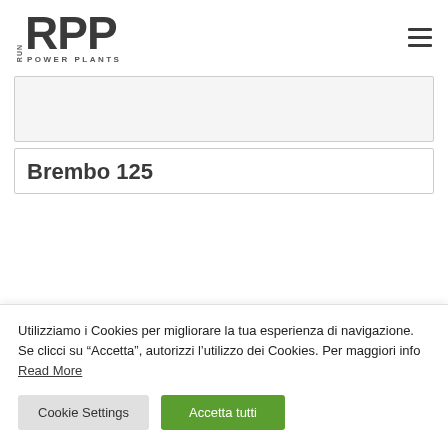[Figure (logo): RPP Run Power Plants logo with large bold RPP letters and 'POWER PLANTS' subtitle]
[Figure (other): Gray bordered rectangular placeholder box (image area)]
Brembo 125
Utilizziamo i Cookies per migliorare la tua esperienza di navigazione. Se clicci su “Accetta”, autorizzi l'utilizzo dei Cookies. Per maggiori info Read More
Cookie Settings | Accetta tutti